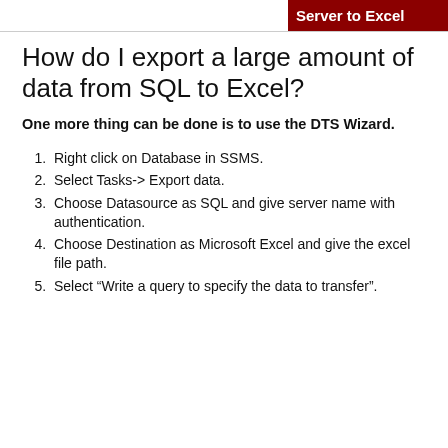Server to Excel
How do I export a large amount of data from SQL to Excel?
One more thing can be done is to use the DTS Wizard.
Right click on Database in SSMS.
Select Tasks-> Export data.
Choose Datasource as SQL and give server name with authentication.
Choose Destination as Microsoft Excel and give the excel file path.
Select “Write a query to specify the data to transfer”.